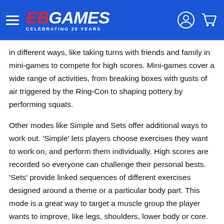EB GAMES — CELEBRATING 25 YEARS
in different ways, like taking turns with friends and family in mini-games to compete for high scores. Mini-games cover a wide range of activities, from breaking boxes with gusts of air triggered by the Ring-Con to shaping pottery by performing squats.
Other modes like Simple and Sets offer additional ways to work out. 'Simple' lets players choose exercises they want to work on, and perform them individually. High scores are recorded so everyone can challenge their personal bests. 'Sets' provide linked sequences of different exercises designed around a theme or a particular body part. This mode is a great way to target a muscle group the player wants to improve, like legs, shoulders, lower body or core. The game even includes a 'Silent' mode for people who live in an upstairs apartment or don't want to make a lot of noise. By activating this mode, jogging-style exercises are swapped out for ones that are a little quieter, allowing players to keep their legs active without a heavy impact on the floor.